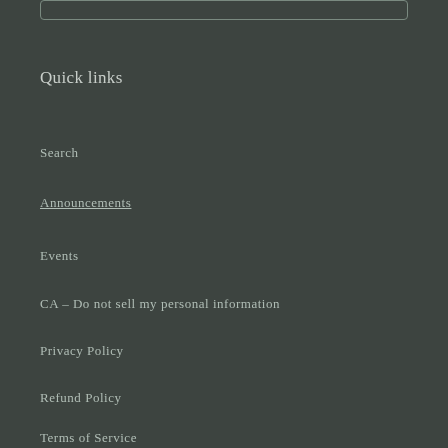Quick links
Search
Announcements
Events
CA – Do not sell my personal information
Privacy Policy
Refund Policy
Terms of Service